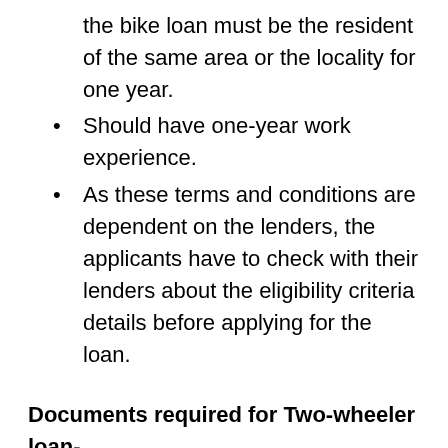the bike loan must be the resident of the same area or the locality for one year.
Should have one-year work experience.
As these terms and conditions are dependent on the lenders, the applicants have to check with their lenders about the eligibility criteria details before applying for the loan.
Documents required for Two-wheeler loan-